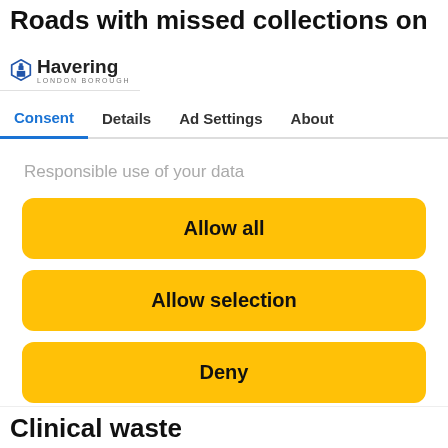Roads with missed collections on
[Figure (logo): Havering London Borough logo with shield icon and text 'Havering' and subtitle 'LONDON BOROUGH']
Consent | Details | Ad Settings | About
Responsible use of your data
Allow all
Allow selection
Deny
Powered by Cookiebot by Usercentrics
Clinical waste